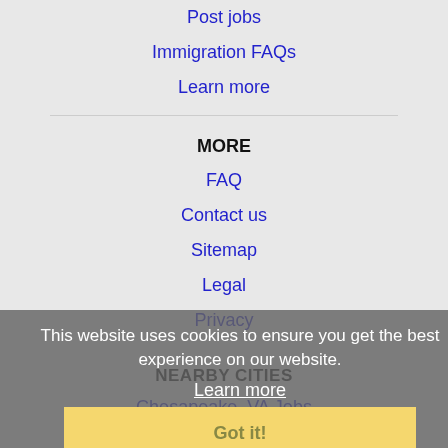Post jobs
Immigration FAQs
Learn more
MORE
FAQ
Contact us
Sitemap
Legal
Privacy
This website uses cookies to ensure you get the best experience on our website.
Learn more
Got it!
NEARBY CITIES
Chesapeake, VA Jobs
Hampton, VA Jobs
Norfolk, VA Jobs
Portsmouth, VA Jobs
Richmond, VA Jobs